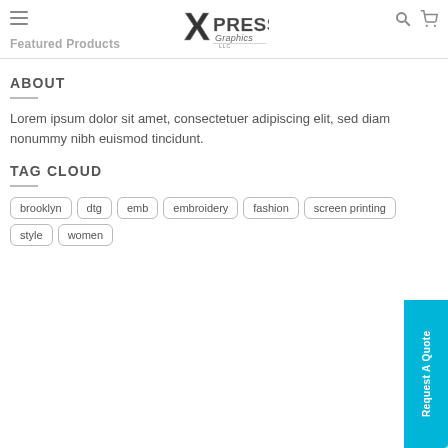[Figure (logo): Xpress Graphics LLC logo in metallic stylized text]
Featured Products
ABOUT
Lorem ipsum dolor sit amet, consectetuer adipiscing elit, sed diam nonummy nibh euismod tincidunt.
TAG CLOUD
brooklyn
dtg
emb
embroidery
fashion
screen printing
style
women